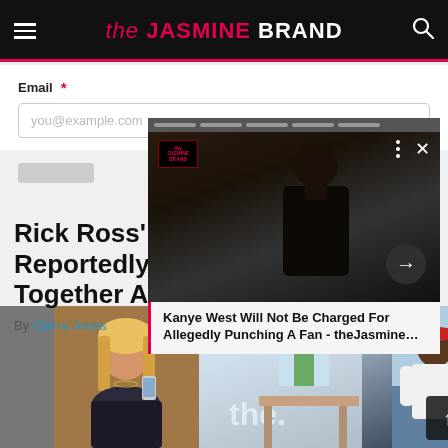the JASMINE BRAND
Email *
you@example.com
[Figure (screenshot): Video overlay card showing a man in black (Kanye West) with caption: Kanye West Will Not Be Charged For Allegedly Punching A Fan - theJasmine...]
Rick Ross' Reportedly Together A…
By Cierra Jones
[Figure (photo): Bottom image strip showing three photos: a woman with blonde hair taking a selfie, a background scene, and a man in a red hat and white shirt]